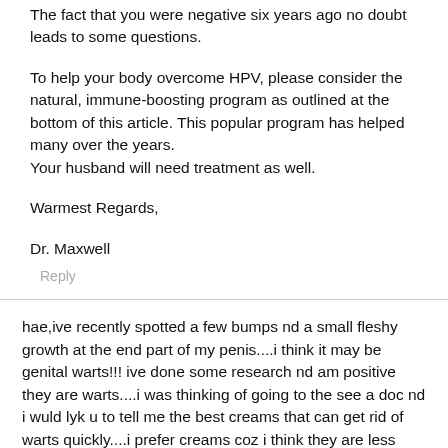The fact that you were negative six years ago no doubt leads to some questions.
To help your body overcome HPV, please consider the natural, immune-boosting program as outlined at the bottom of this article. This popular program has helped many over the years.
Your husband will need treatment as well.
Warmest Regards,
Dr. Maxwell
Reply
hae,ive recently spotted a few bumps nd a small fleshy growth at the end part of my penis....i think it may be genital warts!!! ive done some research nd am positive they are warts....i was thinking of going to the see a doc nd i wuld lyk u to tell me the best creams that can get rid of warts quickly....i prefer creams coz i think they are less painful nd easy to handle nd not so